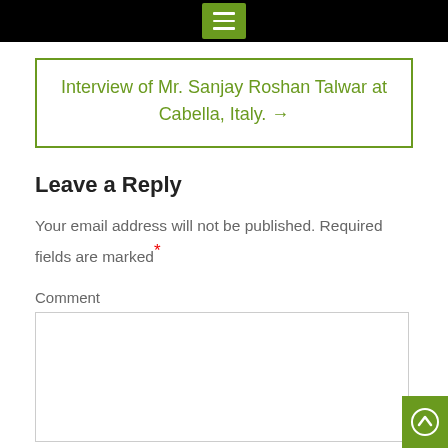menu button / navigation bar
Interview of Mr. Sanjay Roshan Talwar at Cabella, Italy. →
Leave a Reply
Your email address will not be published. Required fields are marked *
Comment